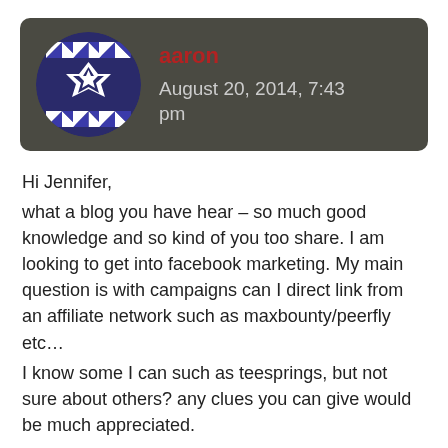[Figure (illustration): User avatar: circular image with blue and white geometric/quilt-pattern design on dark background]
aaron
August 20, 2014, 7:43 pm
Hi Jennifer,
what a blog you have hear – so much good knowledge and so kind of you too share. I am looking to get into facebook marketing. My main question is with campaigns can I direct link from an affiliate network such as maxbounty/peerfly etc…
I know some I can such as teesprings, but not sure about others? any clues you can give would be much appreciated.

thanks again